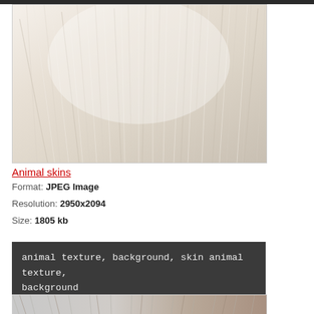[Figure (photo): Close-up macro photo of white/cream animal fur texture showing individual hair strands]
Animal skins
Format: JPEG Image
Resolution: 2950x2094
Size: 1805 kb
animal texture, background, skin animal texture, background
[Figure (photo): Close-up photo of animal fur texture, mixed grey/brown tones, partially visible at bottom]